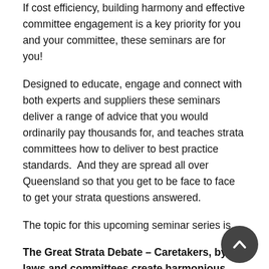If cost efficiency, building harmony and effective committee engagement is a key priority for you and your committee, these seminars are for you!
Designed to educate, engage and connect with both experts and suppliers these seminars deliver a range of advice that you would ordinarily pay thousands for, and teaches strata committees how to deliver to best practice standards.  And they are spread all over Queensland so that you get to be face to face to get your strata questions answered.
The topic for this upcoming seminar series is…
The Great Strata Debate – Caretakers, by-laws and committees create harmonious strata communities!
Our expert panelists will take a position on this